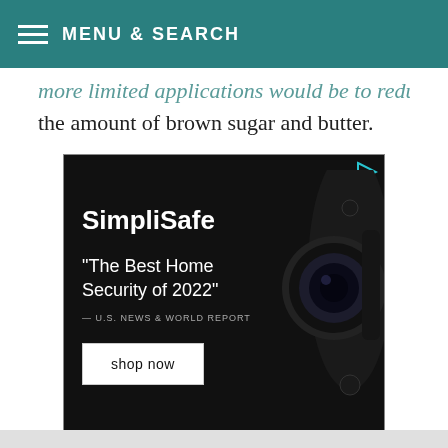MENU & SEARCH
more limited applications would be to reduce the amount of brown sugar and butter.
[Figure (advertisement): SimpliSafe advertisement banner with text: 'SimpliSafe', '"The Best Home Security of 2022"', '— U.S. NEWS & WORLD REPORT', 'shop now' button, and an image of a security camera on a black background.]